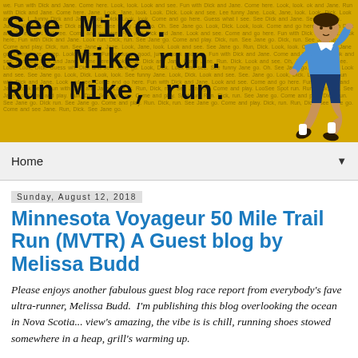[Figure (illustration): Blog header banner with yellow background covered in small repeated text about Dick and Jane. Large bold typewriter-font text reads 'See Mike. See Mike run. Run Mike, run.' with an illustration of a running boy in blue shorts and white shirt on the right side.]
Home ▼
Sunday, August 12, 2018
Minnesota Voyageur 50 Mile Trail Run (MVTR) A Guest blog by Melissa Budd
Please enjoys another fabulous guest blog race report from everybody's fave ultra-runner, Melissa Budd.  I'm publishing this blog overlooking the ocean in Nova Scotia... view's amazing, the vibe is is chill, running shoes stowed somewhere in a heap, grill's warming up.